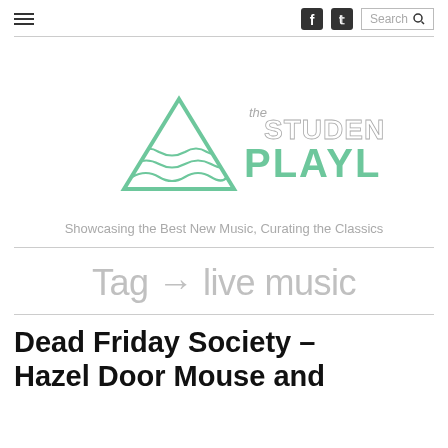☰  [facebook] [twitter]  Search 🔍
[Figure (logo): The Student Playlist logo — green triangle with wave lines, with 'the STUDENT PLAYLIST' text in green]
Showcasing the Best New Music, Curating the Classics
Tag → live music
Dead Friday Society – Hazel Door Mouse and